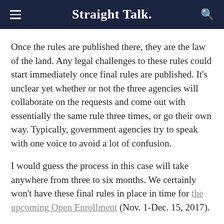Straight Talk.
Once the rules are published there, they are the law of the land. Any legal challenges to these rules could start immediately once final rules are published. It’s unclear yet whether or not the three agencies will collaborate on the requests and come out with essentially the same rule three times, or go their own way. Typically, government agencies try to speak with one voice to avoid a lot of confusion.
I would guess the process in this case will take anywhere from three to six months. We certainly won’t have these final rules in place in time for the upcoming Open Enrollment (Nov. 1-Dec. 15, 2017).
So Mike, what’s all the hoopla about?
The Executive Order instructs the agencies to consider